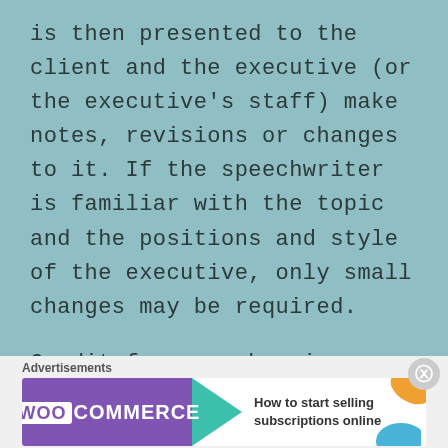is then presented to the client and the executive (or the executive's staff) make notes, revisions or changes to it. If the speechwriter is familiar with the topic and the positions and style of the executive, only small changes may be required.
Credit for speeches is mainly contributed to the person making it rather than the speechwriter, much like a ghost writer. Their name may never appear in public or a credit
Advertisements — WooCommerce: How to start selling subscriptions online